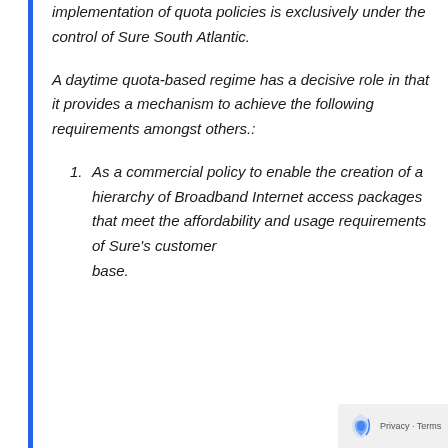implementation of quota policies is exclusively under the control of Sure South Atlantic.
A daytime quota-based regime has a decisive role in that it provides a mechanism to achieve the following requirements amongst others.:
As a commercial policy to enable the creation of a hierarchy of Broadband Internet access packages that meet the affordability and usage requirements of Sure's customer base.